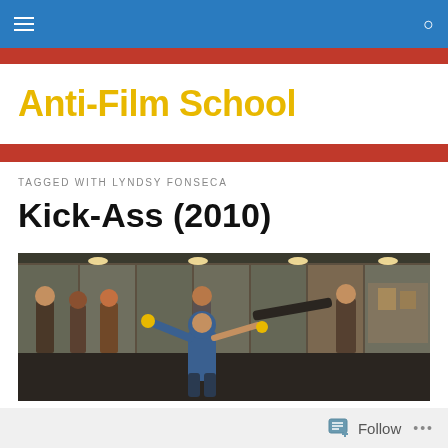Anti-Film School — navigation bar
Anti-Film School
TAGGED WITH LYNDSY FONSECA
Kick-Ass (2010)
[Figure (photo): Scene from the movie Kick-Ass (2010) showing a character in a blue hoodie swinging a bat in what appears to be an indoor public space with spectators in the background.]
Follow